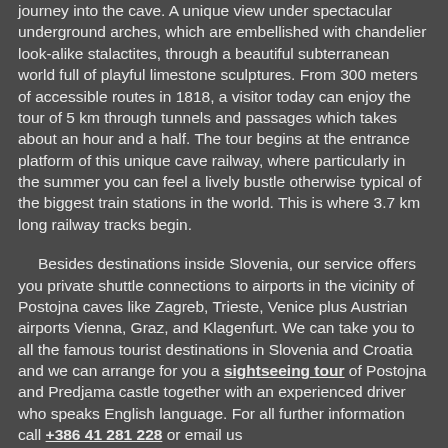journey into the cave. A unique view under spectacular underground arches, which are embellished with chandelier look-alike stalactites, through a beautiful subterranean world full of playful limestone sculptures. From 300 meters of accessible routes in 1818, a visitor today can enjoy the tour of 5 km through tunnels and passages which takes about an hour and a half. The tour begins at the entrance platform of this unique cave railway, where particularly in the summer you can feel a lively bustle otherwise typical of the biggest train stations in the world. This is where 3.7 km long railway tracks begin.
Besides destinations inside Slovenia, our service offers you private shuttle connections to airports in the vicinity of Postojna caves like Zagreb, Trieste, Venice plus Austrian airports Vienna, Graz, and Klagenfurt. We can take you to all the famous tourist destinations in Slovenia and Croatia and we can arrange for you a sightseeing tour of Postojna and Predjama castle together with an experienced driver who speaks English language. For all further information call +386 41 281 228 or email us airtrail.slovenia@gmail.com